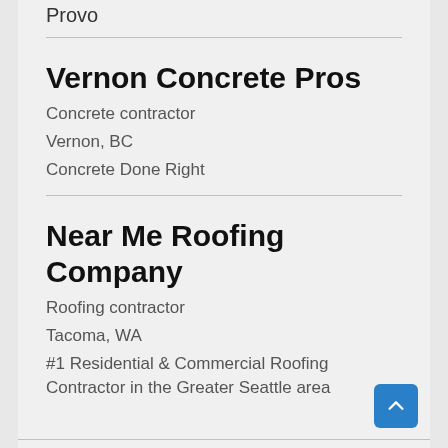Provo
Vernon Concrete Pros
Concrete contractor
Vernon, BC
Concrete Done Right
Near Me Roofing Company
Roofing contractor
Tacoma, WA
#1 Residential & Commercial Roofing Contractor in the Greater Seattle area